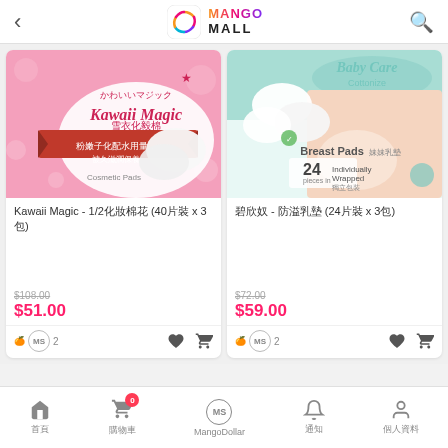Mango Mall app header with back button, logo, and search icon
[Figure (screenshot): Kawaii Magic cosmetic pads product image - pink floral background with white cosmetic pad packaging]
Kawaii Magic - 1/2化妝棉花 (40片裝 x 3包)
$108.00
$51.00
🍊 MS 2
[Figure (screenshot): Breast Pads product image - baby care cottonize breast pads, 24 pieces individually wrapped, mother and baby photo]
碧欣奴 - 防溢乳墊 (24片裝 x 3包)
$72.00
$59.00
🍊 MS 2
首頁  購物車 0  MangoDollar  通知  個人資料